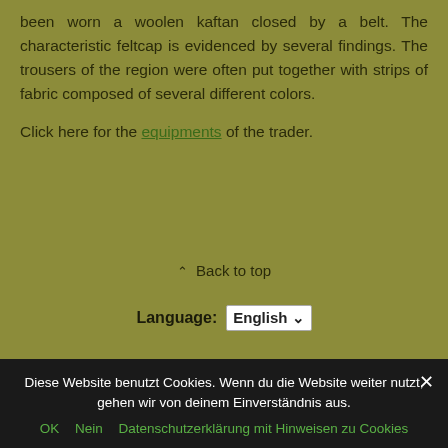been worn a woolen kaftan closed by a belt. The characteristic feltcap is evidenced by several findings. The trousers of the region were often put together with strips of fabric composed of several different colors.
Click here for the equipments of the trader.
^ Back to top
Language: English
Mobile | Desktop
Diese Website benutzt Cookies. Wenn du die Website weiter nutzt, gehen wir von deinem Einverständnis aus. OK Nein Datenschutzerklärung mit Hinweisen zu Cookies